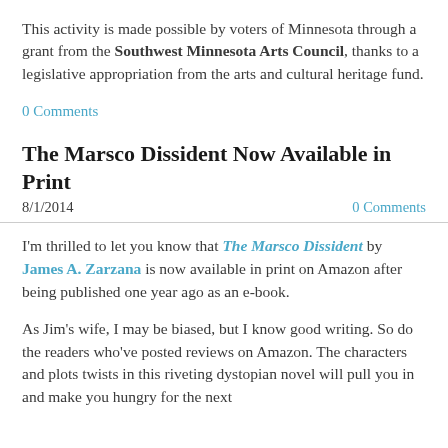This activity is made possible by voters of Minnesota through a grant from the Southwest Minnesota Arts Council, thanks to a legislative appropriation from the arts and cultural heritage fund.
0 Comments
The Marsco Dissident Now Available in Print
8/1/2014    0 Comments
I'm thrilled to let you know that The Marsco Dissident by James A. Zarzana is now available in print on Amazon after being published one year ago as an e-book.
As Jim's wife, I may be biased, but I know good writing. So do the readers who've posted reviews on Amazon. The characters and plots twists in this riveting dystopian novel will pull you in and make you hungry for the next